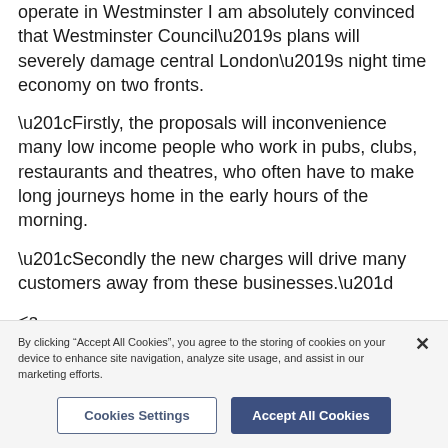operate in Westminster I am absolutely convinced that Westminster Council’s plans will severely damage central London’s night time economy on two fronts.
“Firstly, the proposals will inconvenience many low income people who work in pubs, clubs, restaurants and theatres, who often have to make long journeys home in the early hours of the morning.
“Secondly the new charges will drive many customers away from these businesses.”
<a href="http://www.coveritlive.com/mobile.php/option=com
By clicking “Accept All Cookies”, you agree to the storing of cookies on your device to enhance site navigation, analyze site usage, and assist in our marketing efforts.